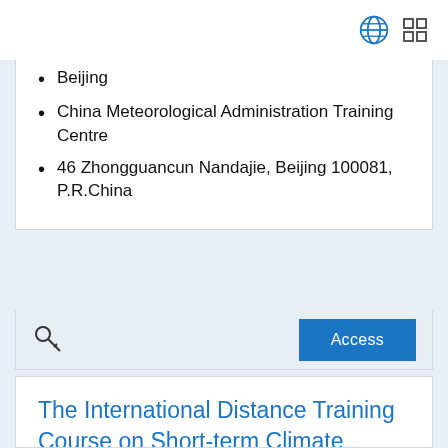Beijing
China Meteorological Administration Training Centre
46 Zhongguancun Nandajie, Beijing 100081, P.R.China
Access
The International Distance Training Course on Short-term Climate Monitoring and